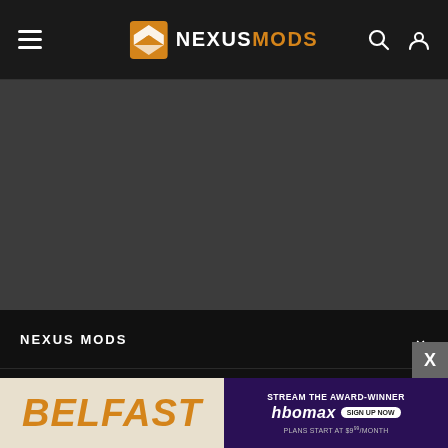NEXUSMODS navigation bar with hamburger menu, logo, search and user icons
[Figure (screenshot): Dark grey banner/hero area below the navigation bar]
NEXUS MODS
DISCOVER
SUPPORT
COMMUNITY
[Figure (other): Advertisement banner: left side shows Belfast movie title in orange italic text on a cream background; right side shows HBO Max stream the award-winner ad with sign up now button and plans start at $9.99/month on a dark purple background. An X close button appears in the top right corner.]